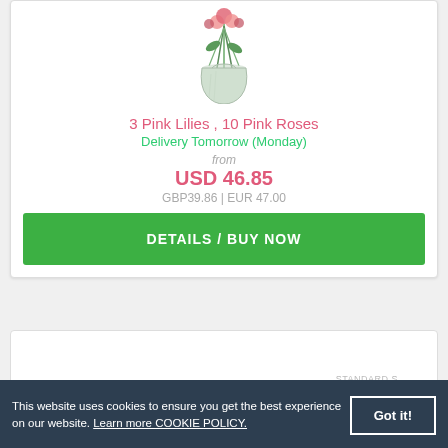[Figure (photo): Product image: a glass vase with pink lilies and roses]
3 Pink Lilies , 10 Pink Roses
Delivery Tomorrow (Monday)
from
USD 46.85
GBP39.86 | EUR 47.00
DETAILS / BUY NOW
This website uses cookies to ensure you get the best experience on our website. Learn more COOKIE POLICY.
Got it!